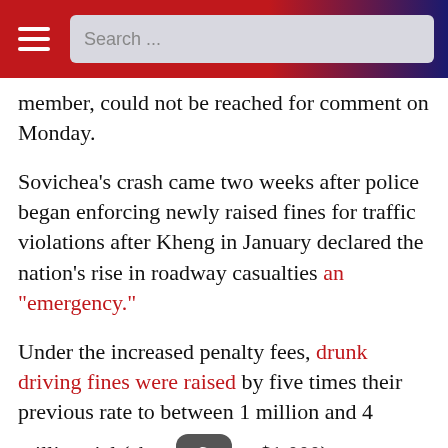Search ...
member, could not be reached for comment on Monday.
Sovichea's crash came two weeks after police began enforcing newly raised fines for traffic violations after Kheng in January declared the nation's rise in roadway casualties an "emergency."
Under the increased penalty fees, drunk driving fines were raised by five times their previous rate to between 1 million and 4 million riel (about $250 to $1,000), depending on the type of vehicle.
Kong Ratanak, director of the Institute for Road Safety, told VOD that removing Sovichea from his